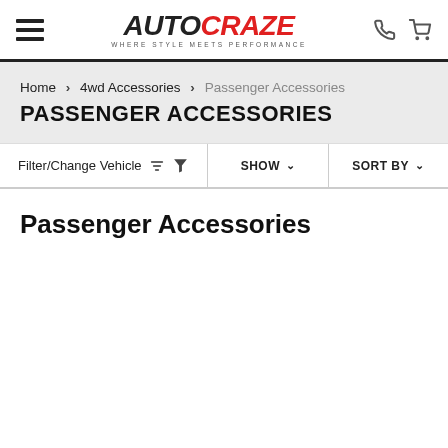AUTOCRAZE — WHERE STYLE MEETS PERFORMANCE
Home > 4wd Accessories > Passenger Accessories
PASSENGER ACCESSORIES
Filter/Change Vehicle | SHOW | SORT BY
Passenger Accessories